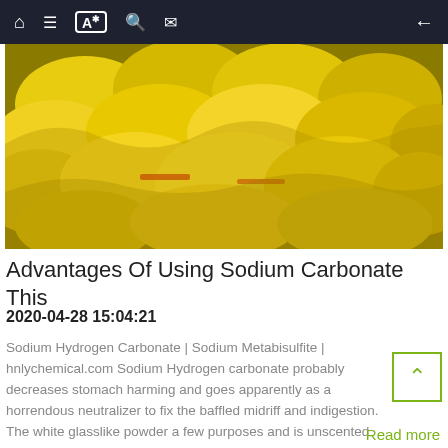Navigation bar with home, list, text, search, mail icons and back arrow
[Figure (photo): Stack of yellow bags of sodium carbonate/chemical product piled on a pallet, photographed from a low angle]
Advantages Of Using Sodium Carbonate This
2020-04-28 15:04:21
Sodium Hydrogen Carbonate | Sodium Metabisulfite | hnlychemical.com Sodium Hydrogen carbonate probably decreases stomach harming and goes apparently as a horrendous neutralizer to fix the baffled midriff and indigestion. The white glasslike powder a few purposes and is unscented with principal homes that make from Sodium Hydroxide-rich soil. Its miles…
Read more